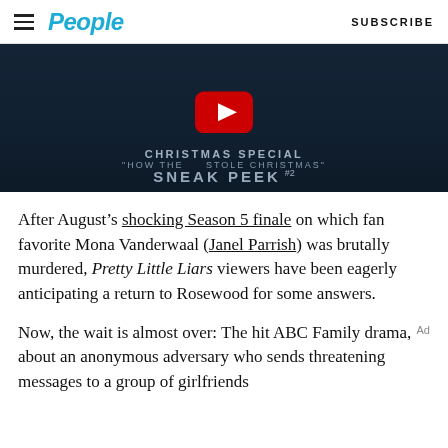People | SUBSCRIBE
[Figure (screenshot): Video thumbnail showing Pretty Little Liars Christmas Special sneak peek with YouTube play button overlay and text: CHRISTMAS SPECIAL HOW THE [X] STOLE CHRISTMAS SNEAK PEEK #2]
After August's shocking Season 5 finale on which fan favorite Mona Vanderwaal (Janel Parrish) was brutally murdered, Pretty Little Liars viewers have been eagerly anticipating a return to Rosewood for some answers.
Now, the wait is almost over: The hit ABC Family drama, about an anonymous adversary who sends threatening messages to a group of girlfriends